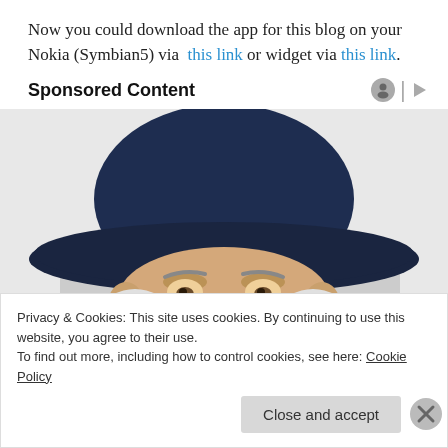Now you could download the app for this blog on your Nokia (Symbian5) via this link or widget via this link.
Sponsored Content
[Figure (illustration): Illustrated character wearing a wide-brimmed dark blue cowboy hat with white hair, peeking upward — appears to be an Quaker Oats style mascot illustration]
Privacy & Cookies: This site uses cookies. By continuing to use this website, you agree to their use.
To find out more, including how to control cookies, see here: Cookie Policy
Close and accept